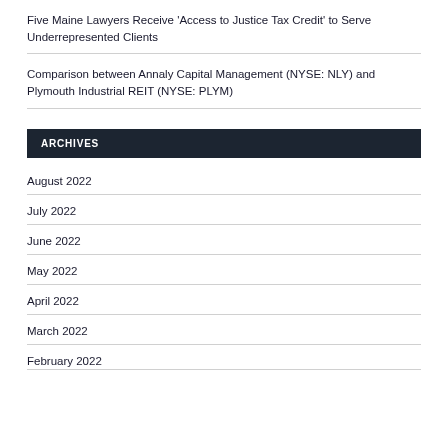Five Maine Lawyers Receive 'Access to Justice Tax Credit' to Serve Underrepresented Clients
Comparison between Annaly Capital Management (NYSE: NLY) and Plymouth Industrial REIT (NYSE: PLYM)
ARCHIVES
August 2022
July 2022
June 2022
May 2022
April 2022
March 2022
February 2022